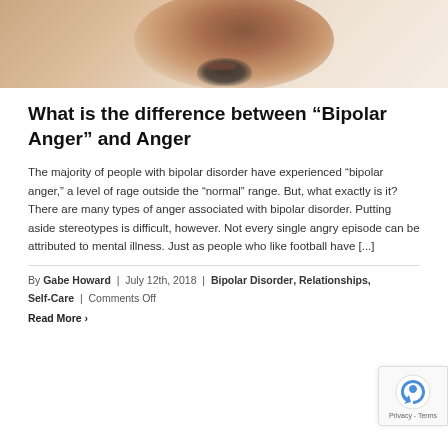[Figure (photo): Close-up photo of a man's face looking downward, with a beard, against a light beige background. Only the lower portion of his face is clearly visible.]
What is the difference between “Bipolar Anger” and Anger
The majority of people with bipolar disorder have experienced “bipolar anger,” a level of rage outside the “normal” range. But, what exactly is it? There are many types of anger associated with bipolar disorder. Putting aside stereotypes is difficult, however. Not every single angry episode can be attributed to mental illness. Just as people who like football have [...]
By Gabe Howard | July 12th, 2018 | Bipolar Disorder, Relationships, Self-Care | Comments Off
Read More ›